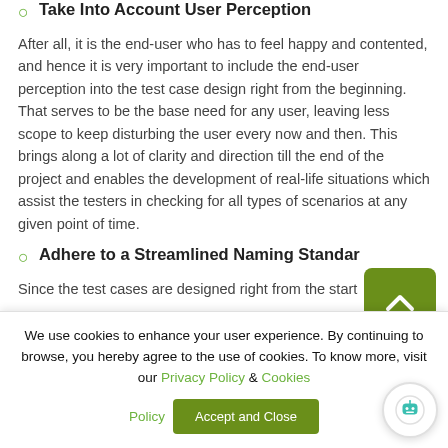Take Into Account User Perception
After all, it is the end-user who has to feel happy and contented, and hence it is very important to include the end-user perception into the test case design right from the beginning. That serves to be the base need for any user, leaving less scope to keep disturbing the user every now and then. This brings along a lot of clarity and direction till the end of the project and enables the development of real-life situations which assist the testers in checking for all types of scenarios at any given point of time.
Adhere to a Streamlined Naming Standard
Since the test cases are designed right from the start
We use cookies to enhance your user experience. By continuing to browse, you hereby agree to the use of cookies. To know more, visit our Privacy Policy & Cookies Policy